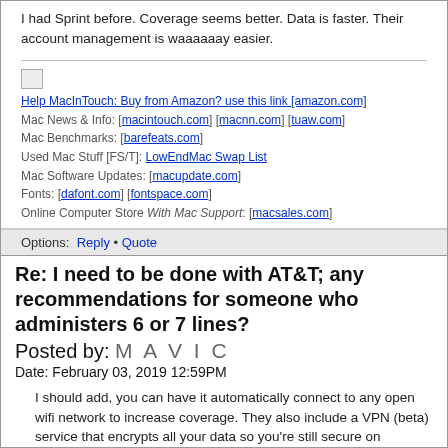I had Sprint before. Coverage seems better. Data is faster. Their account management is waaaaaay easier.
Help MacInTouch: Buy from Amazon? use this link [amazon.com]
Mac News & Info: [macintouch.com] [macnn.com] [tuaw.com]
Mac Benchmarks: [barefeats.com]
Used Mac Stuff [FS/T]: LowEndMac Swap List
Mac Software Updates: [macupdate.com]
Fonts: [dafont.com] [fontspace.com]
Online Computer Store With Mac Support: [macsales.com]
Options: Reply • Quote
Re: I need to be done with AT&T; any recommendations for someone who administers 6 or 7 lines?
Posted by: M A V I C
Date: February 03, 2019 12:59PM
I should add, you can have it automatically connect to any open wifi network to increase coverage. They also include a VPN (beta) service that encrypts all your data so you're still secure on someone's network.
Help MacInTouch: Buy from Amazon? use this link [amazon.com]
Mac News & Info: [macintouch.com] [macnn.com] [tuaw.com]